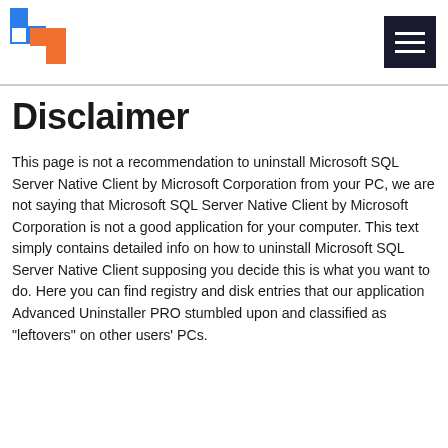[Figure (logo): Software informer style logo with blue and orange overlapping squares/rectangles forming a window-like icon]
Disclaimer
This page is not a recommendation to uninstall Microsoft SQL Server Native Client by Microsoft Corporation from your PC, we are not saying that Microsoft SQL Server Native Client by Microsoft Corporation is not a good application for your computer. This text simply contains detailed info on how to uninstall Microsoft SQL Server Native Client supposing you decide this is what you want to do. Here you can find registry and disk entries that our application Advanced Uninstaller PRO stumbled upon and classified as "leftovers" on other users' PCs.